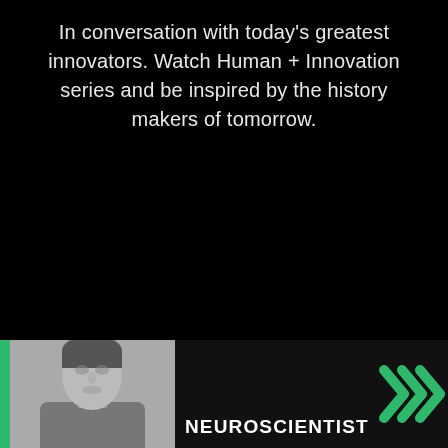In conversation with today's greatest innovators. Watch Human + Innovation series and be inspired by the history makers of tomorrow.
[Figure (photo): Bottom banner showing a black and white photo of a man on the left with a green vertical bar accent, the word NEUROSCIENTIST in bold white uppercase text, and green double chevron arrows on the right, all on a dark background.]